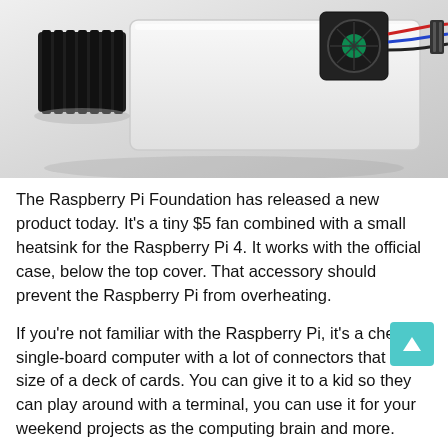[Figure (photo): Photo of a Raspberry Pi 4 case with a small black heatsink on the left and a fan mounted on a white case with red, blue, and black wires on the right, against a light gray background.]
The Raspberry Pi Foundation has released a new product today. It's a tiny $5 fan combined with a small heatsink for the Raspberry Pi 4. It works with the official case, below the top cover. That accessory should prevent the Raspberry Pi from overheating.
If you're not familiar with the Raspberry Pi, it's a cheap, single-board computer with a lot of connectors that is the size of a deck of cards. You can give it to a kid so they can play around with a terminal, you can use it for your weekend projects as the computing brain and more.
The Raspberry Pi 4 is the most recent Raspberry Pi